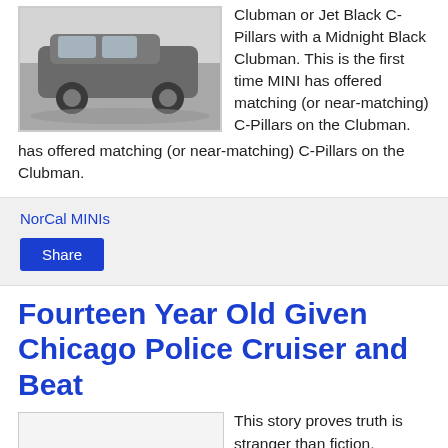[Figure (photo): Photo of a MINI Clubman car parked outdoors]
Clubman or Jet Black C-Pillars with a Midnight Black Clubman. This is the first time MINI has offered matching (or near-matching) C-Pillars on the Clubman.
NorCal MINIs
Share
Fourteen Year Old Given Chicago Police Cruiser and Beat
[Figure (photo): Placeholder image for second article]
This story proves truth is stranger than fiction. We went slack jawed when we read this story in these days of heightened security, especially in our urban areas. You must read it but here is